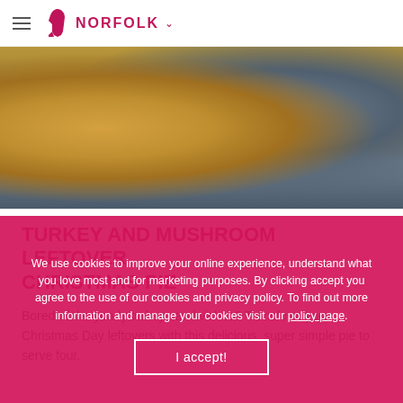NORFOLK
[Figure (photo): Food photo showing a baking dish with roasted potatoes and a glass of white wine, alongside a dark background with berries.]
TURKEY AND MUSHROOM LEFTOVER CHRISTMAS PIE
Bored of the yearly turkey sandwiches? Transform your Christmas Day leftovers with this delicious, super simple pie to serve four.
We use cookies to improve your online experience, understand what you love most and for marketing purposes. By clicking accept you agree to the use of our cookies and privacy policy. To find out more information and manage your cookies visit our policy page.